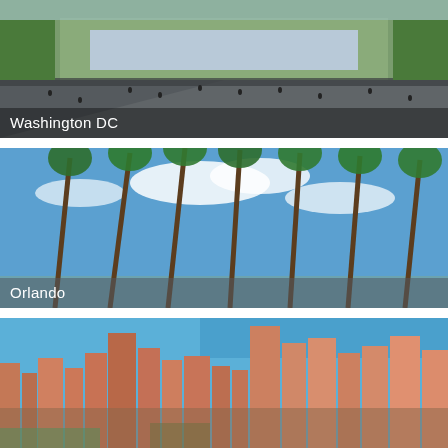[Figure (photo): Aerial/ground-level view of the National Mall in Washington DC with a reflecting pool and visitors]
[Figure (photo): Palm trees against a bright blue sky in Orlando, Florida]
[Figure (photo): Aerial view of Chicago city skyline with skyscrapers and Lake Michigan in the background]